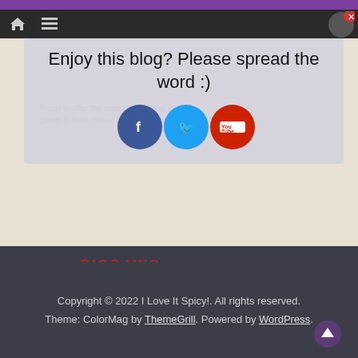Navigation bar with home icon, menu icon, close button
Enjoy this blog? Please spread the word :)
[Figure (infographic): Social sharing overlay with Facebook, Twitter, and YouTube circular icon buttons]
[Figure (logo): BigDawg Salsa Shack logo banner - red background with yellow text 'SALSA SHACK', bulldog mascot, address: 708 E. California St., Gainesville, Texas 76240]
Copyright © 2022 I Love It Spicy!. All rights reserved. Theme: ColorMag by ThemeGrill. Powered by WordPress.